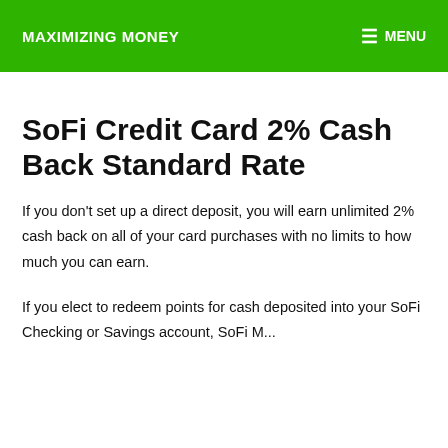MAXIMIZING MONEY  ☰ MENU
SoFi Credit Card 2% Cash Back Standard Rate
If you don't set up a direct deposit, you will earn unlimited 2% cash back on all of your card purchases with no limits to how much you can earn.
If you elect to redeem points for cash deposited into your SoFi Checking or Savings account, SoFi Money account for additional...